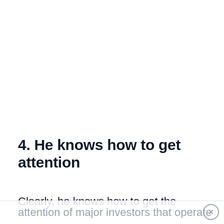4. He knows how to get attention
Clearly, he knows how to get the
attention of major investors that operate